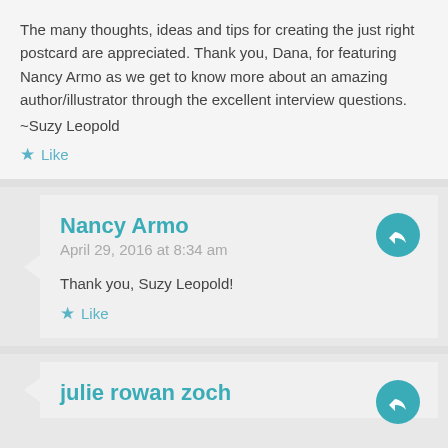The many thoughts, ideas and tips for creating the just right postcard are appreciated. Thank you, Dana, for featuring Nancy Armo as we get to know more about an amazing author/illustrator through the excellent interview questions.
~Suzy Leopold
Like
Nancy Armo
April 29, 2016 at 8:34 am
Thank you, Suzy Leopold!
Like
julie rowan zoch